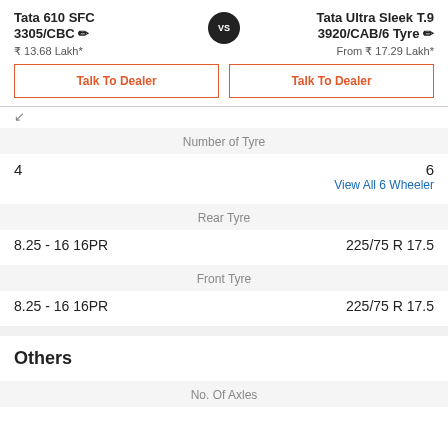Tata 610 SFC 3305/CBC
Tata Ultra Sleek T.9 3920/CAB/6 Tyre
₹ 13.68 Lakh*
From ₹ 17.29 Lakh*
Talk To Dealer
Talk To Dealer
| Left | Category | Right |
| --- | --- | --- |
| 4 | Number of Tyre | 6
View All 6 Wheeler |
| 8.25 - 16 16PR | Rear Tyre | 225/75 R 17.5 |
| 8.25 - 16 16PR | Front Tyre | 225/75 R 17.5 |
Others
No. Of Axles